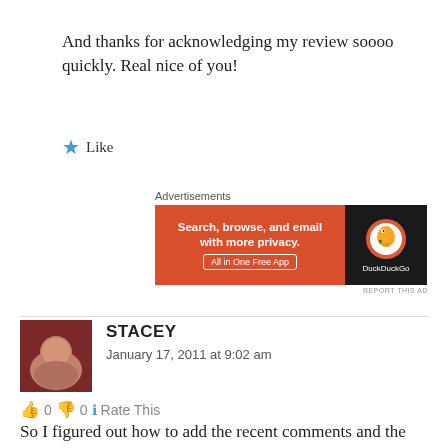And thanks for acknowledging my review soooo quickly. Real nice of you!
★ Like
Advertisements
[Figure (other): DuckDuckGo advertisement banner: orange section with text 'Search, browse, and email with more privacy. All in One Free App', dark section with DuckDuckGo logo]
REPORT THIS AD
STACEY
January 17, 2011 at 9:02 am
👍 0 👎 0 ℹ Rate This
So I figured out how to add the recent comments and the categories/post count, and made some changes with my sidebar. As for the contacts/contact form, that was in my pages (at